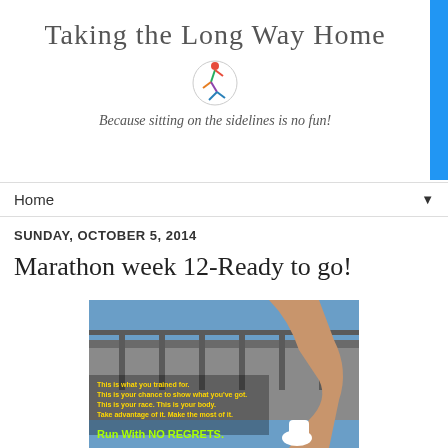Taking the Long Way Home
Because sitting on the sidelines is no fun!
Home ▼
SUNDAY, OCTOBER 5, 2014
Marathon week 12-Ready to go!
[Figure (photo): A runner stretching near a railing with motivational text: 'This is what you trained for. This is your chance to show what you've got. This is your race. This is your body. Take advantage of it. Make the most of it. Run With NO REGRETS.']